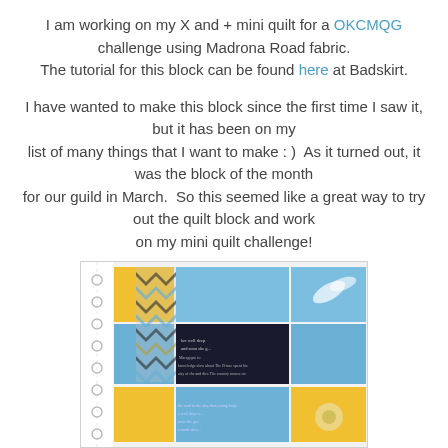I am working on my X and + mini quilt for a OKCMQG challenge using Madrona Road fabric. The tutorial for this block can be found here at Badskirt.
I have wanted to make this block since the first time I saw it, but it has been on my list of many things that I want to make : )  As it turned out, it was the block of the month for our guild in March.  So this seemed like a great way to try out the quilt block and work on my mini quilt challenge!
[Figure (photo): Photo of an X and + mini quilt block made with blue, yellow, and black and white chevron Madrona Road fabrics, with text print fabric in the center.]